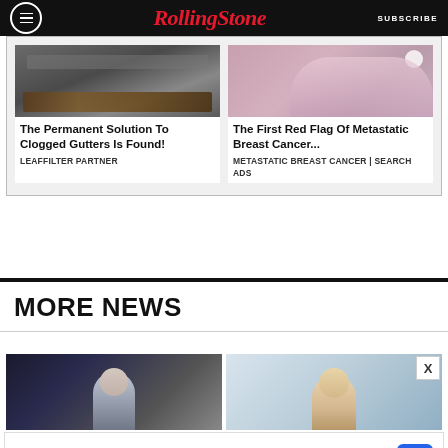RollingStone — SUBSCRIBE
[Figure (photo): Advertisement card: gutters clogged with leaves]
The Permanent Solution To Clogged Gutters Is Found!
LEAFFILTER PARTNER
[Figure (photo): Advertisement card: woman in athletic wear touching chest]
The First Red Flag Of Metastatic Breast Cancer...
METASTATIC BREAST CANCER | SEARCH ADS
MORE NEWS
[Figure (photo): News thumbnail: person with dark hair]
[Figure (photo): News thumbnail: person with blonde hair]
[Figure (advertisement): Walgreens advertisement: Shop with Walgreens and Save — Walgreens Photo]